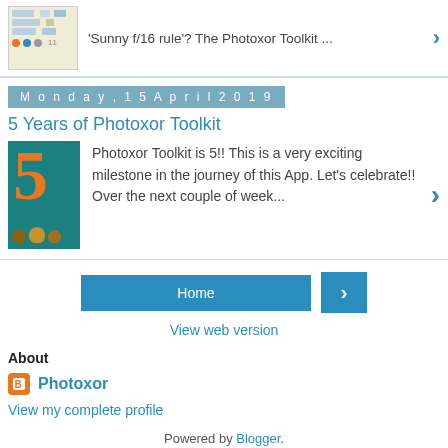'Sunny f/16 rule'? The Photoxor Toolkit ...
Monday, 15 April 2019
5 Years of Photoxor Toolkit
Photoxor Toolkit is 5!! This is a very exciting milestone in the journey of this App. Let's celebrate!! Over the next couple of week...
Home
View web version
About
Photoxor
View my complete profile
Powered by Blogger.